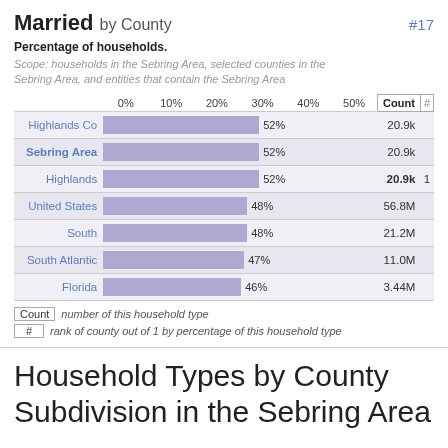Married by County #17
Percentage of households.
Scope: households in the Sebring Area, selected counties in the Sebring Area, and entities that contain the Sebring Area
[Figure (bar-chart): Married by County]
Count  number of this household type
#  rank of county out of 1 by percentage of this household type
Household Types by County Subdivision in the Sebring Area